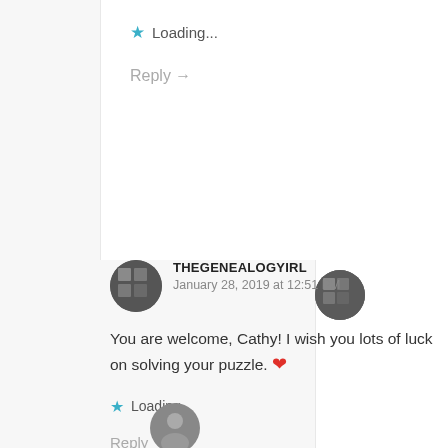★ Loading...
Reply →
THEGENEALOGYIRL
January 28, 2019 at 12:51 PM
You are welcome, Cathy! I wish you lots of luck on solving your puzzle. ❤
★ Loading...
Reply →
[Figure (photo): Circular avatar of a person at bottom of page]